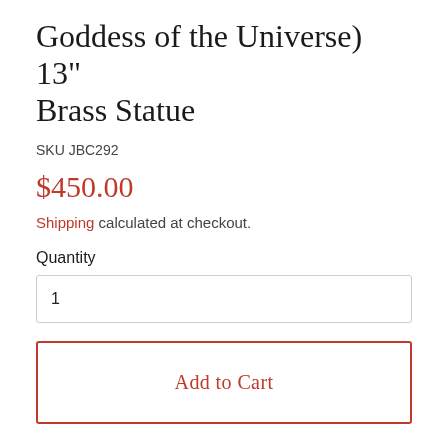Goddess of the Universe) 13" Brass Statue
SKU JBC292
$450.00
Shipping calculated at checkout.
Quantity
1
Add to Cart